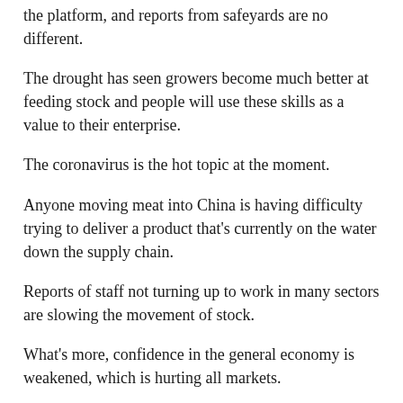the platform, and reports from safeyards are no different.
The drought has seen growers become much better at feeding stock and people will use these skills as a value to their enterprise.
The coronavirus is the hot topic at the moment.
Anyone moving meat into China is having difficulty trying to deliver a product that's currently on the water down the supply chain.
Reports of staff not turning up to work in many sectors are slowing the movement of stock.
What's more, confidence in the general economy is weakened, which is hurting all markets.
African swine fever has forced prices up, but if stock can't be moved, it won't make a difference.